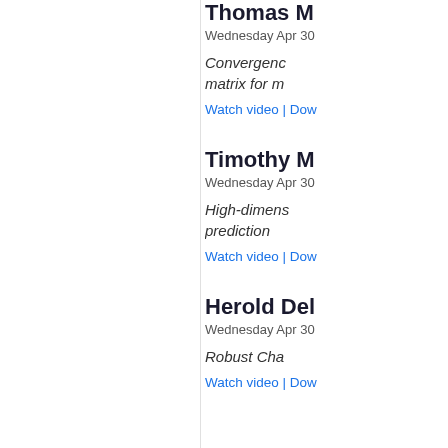Thomas M
Wednesday Apr 30
Convergenc
matrix for m
Watch video | Dow
Timothy M
Wednesday Apr 30
High-dimens
prediction
Watch video | Dow
Herold Del
Wednesday Apr 30
Robust Cha
Watch video | Dow